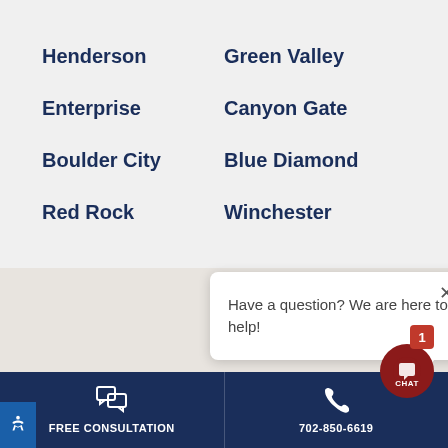Henderson
Green Valley
Enterprise
Canyon Gate
Boulder City
Blue Diamond
Red Rock
Winchester
[Figure (logo): Sunburst script logo in red cursive text]
Have a question? We are here to help!
FREE CONSULTATION   702-850-6619